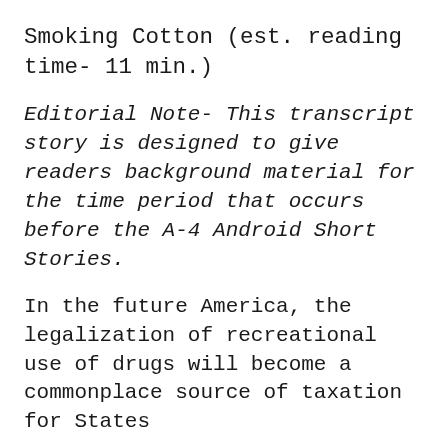Smoking Cotton (est. reading time- 11 min.)
Editorial Note- This transcript story is designed to give readers background material for the time period that occurs before the A-4 Android Short Stories.
In the future America, the legalization of recreational use of drugs will become a commonplace source of taxation for States